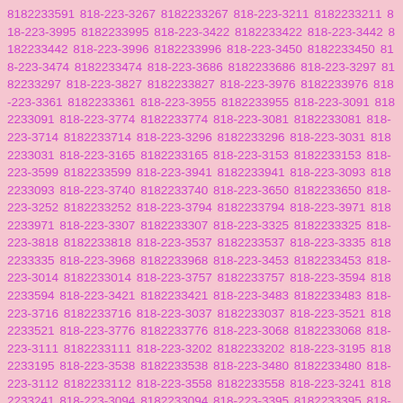8182233591 818-223-3267 8182233267 818-223-3211 8182233211 818-223-3995 8182233995 818-223-3422 8182233422 818-223-3442 8182233442 818-223-3996 8182233996 818-223-3450 8182233450 818-223-3474 8182233474 818-223-3686 8182233686 818-223-3297 8182233297 818-223-3827 8182233827 818-223-3976 8182233976 818-223-3361 8182233361 818-223-3955 8182233955 818-223-3091 8182233091 818-223-3774 8182233774 818-223-3081 8182233081 818-223-3714 8182233714 818-223-3296 8182233296 818-223-3031 8182233031 818-223-3165 8182233165 818-223-3153 8182233153 818-223-3599 8182233599 818-223-3941 8182233941 818-223-3093 8182233093 818-223-3740 8182233740 818-223-3650 8182233650 818-223-3252 8182233252 818-223-3794 8182233794 818-223-3971 8182233971 818-223-3307 8182233307 818-223-3325 8182233325 818-223-3818 8182233818 818-223-3537 8182233537 818-223-3335 8182233335 818-223-3968 8182233968 818-223-3453 8182233453 818-223-3014 8182233014 818-223-3757 8182233757 818-223-3594 8182233594 818-223-3421 8182233421 818-223-3483 8182233483 818-223-3716 8182233716 818-223-3037 8182233037 818-223-3521 8182233521 818-223-3776 8182233776 818-223-3068 8182233068 818-223-3111 8182233111 818-223-3202 8182233202 818-223-3195 8182233195 818-223-3538 8182233538 818-223-3480 8182233480 818-223-3112 8182233112 818-223-3558 8182233558 818-223-3241 8182233241 818-223-3094 8182233094 818-223-3395 8182233395 818-223-3769 8182233769 818-223-3536 8182233536 818-223-3437 8182233437 818-223-3902 8182233902 818-223-3831 8182233831 818-223-3934 8182233934 818-223-3110 8182233110 818-223-3258 8182233258 818-223-3000 8182233000 818-223-3684 8182233684